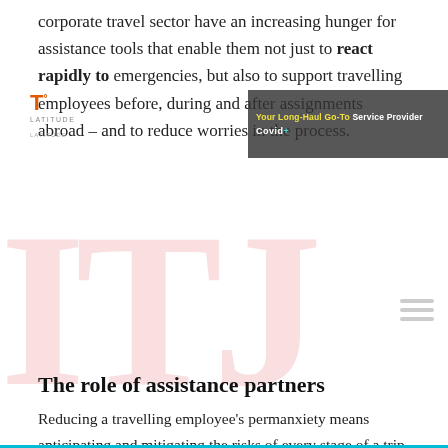corporate travel sector have an increasing hunger for assistance tools that enable them not just to react rapidly to emergencies, but also to support travelling employees before, during and after assignments abroad – and to reduce worries in the process.
[Figure (logo): Latitude logo with orange T degree symbol and grey LATITUDE text, small tagline, on dark banner overlay reading 'Your Long-Haul Go-To Service Provider Covid+']
The role of assistance partners
Reducing a travelling employee's permanxiety means anticipating and mitigating the risks of every stage of a trip overseas – and that includes the journey. Preparation is crucial, not least via pre-travel medical and security risk assessments, employee training for all eventualities, and education about everything from preventing mosquito bites and road accidents to avoiding cultural gaffes.
Equally essential is constant awareness of